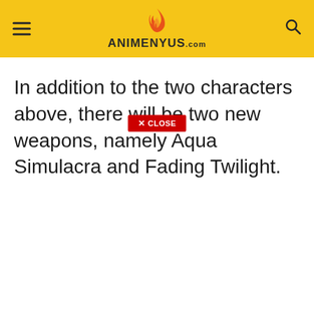ANIMENYUS.com
[Figure (screenshot): Red CLOSE button overlay with X mark]
In addition to the two characters above, there will be two new weapons, namely Aqua Simulacra and Fading Twilight.